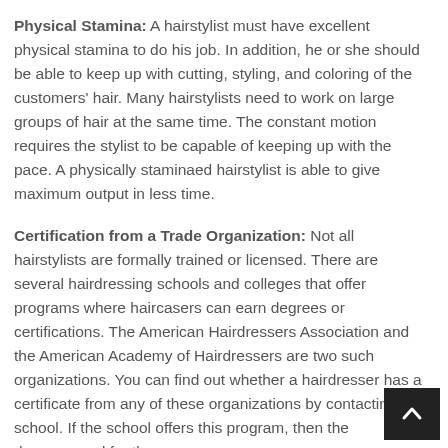Physical Stamina: A hairstylist must have excellent physical stamina to do his job. In addition, he or she should be able to keep up with cutting, styling, and coloring of the customers' hair. Many hairstylists need to work on large groups of hair at the same time. The constant motion requires the stylist to be capable of keeping up with the pace. A physically staminaed hairstylist is able to give maximum output in less time.
Certification from a Trade Organization: Not all hairstylists are formally trained or licensed. There are several hairdressing schools and colleges that offer programs where haircasers can earn degrees or certifications. The American Hairdressers Association and the American Academy of Hairdressers are two such organizations. You can find out whether a hairdresser has a certificate from any of these organizations by contacting the school. If the school offers this program, then the degree and for three years.